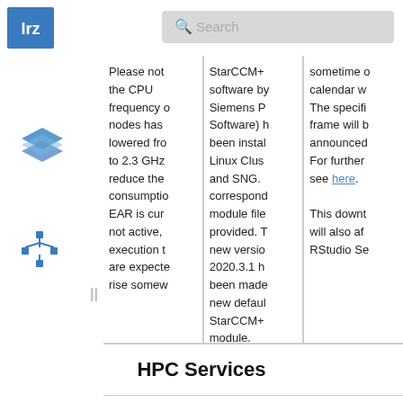[Figure (logo): LRZ blue logo square with white text 'lrz']
[Figure (screenshot): Search bar with magnifying glass icon and placeholder text 'Search']
[Figure (illustration): Blue stacked layers icon in sidebar]
[Figure (illustration): Blue tree/hierarchy icon in sidebar]
Please not the CPU frequency o nodes has lowered fro to 2.3 GHz reduce the consumptio EAR is cur not active, execution t are expecte rise somew
StarCCM+ software by Siemens P Software) h been instal Linux Clus and SNG. correspond module file provided. T new versio 2020.3.1 h been made new defaul StarCCM+ module.
sometime o calendar w The specifi frame will b announced For further see here. This downt will also af RStudio Se
HPC Services